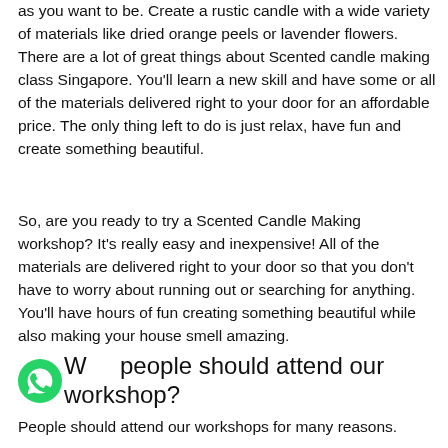as you want to be. Create a rustic candle with a wide variety of materials like dried orange peels or lavender flowers. There are a lot of great things about Scented candle making class Singapore. You'll learn a new skill and have some or all of the materials delivered right to your door for an affordable price. The only thing left to do is just relax, have fun and create something beautiful.
So, are you ready to try a Scented Candle Making workshop? It's really easy and inexpensive! All of the materials are delivered right to your door so that you don't have to worry about running out or searching for anything. You'll have hours of fun creating something beautiful while also making your house smell amazing.
Who people should attend our workshop?
People should attend our workshops for many reasons.